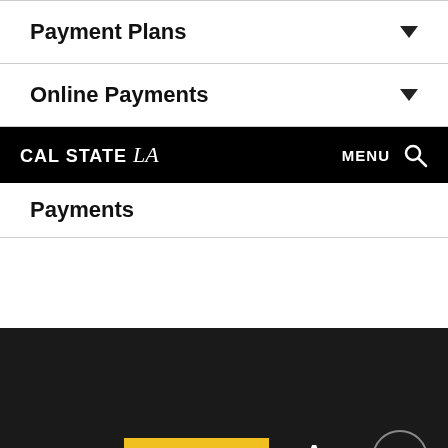Payment Plans
Online Payments
CAL STATE LA  MENU
Payments
[Figure (logo): WE ARE LA logo in yellow box with white serif LA text on dark background]